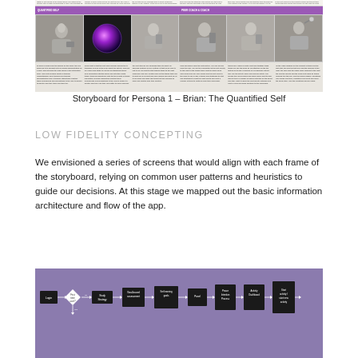[Figure (illustration): Storyboard for Persona 1 - Brian: The Quantified Self. Six illustrated frames showing a user interacting with a mobile application, with descriptive text below each frame. Purple header bars divide the storyboard into two sections.]
Storyboard for Persona 1 – Brian: The Quantified Self
LOW FIDELITY CONCEPTING
We envisioned a series of screens that would align with each frame of the storyboard, relying on common user patterns and heuristics to guide our decisions. At this stage we mapped out the basic information architecture and flow of the app.
[Figure (flowchart): Low fidelity wireframe flow diagram showing app screens on a purple background, including Login, First time user?, Study Strategy, Goal-based assessment, and multiple subsequent screens including Panel, Peace Intention Process, Activity Dashboard, Start activity / start new activity, Tap your activity partner, and Activity Retrospective.]